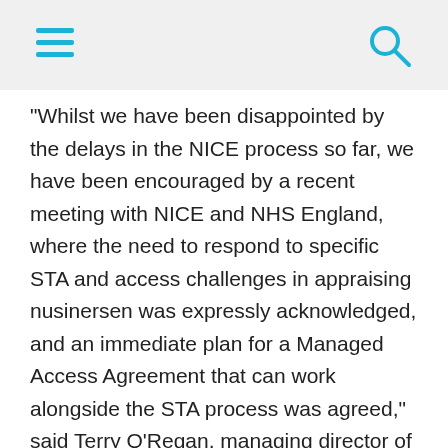[hamburger menu icon] [search icon]
“Whilst we have been disappointed by the delays in the NICE process so far, we have been encouraged by a recent meeting with NICE and NHS England, where the need to respond to specific STA and access challenges in appraising nusinersen was expressly acknowledged, and an immediate plan for a Managed Access Agreement that can work alongside the STA process was agreed,” said Terry O’Regan, managing director of Biogen UK and Ireland.
“Now is the time for all stakeholders to work together to ensure as many patients as possible get rapid access to this life saving medicine.”